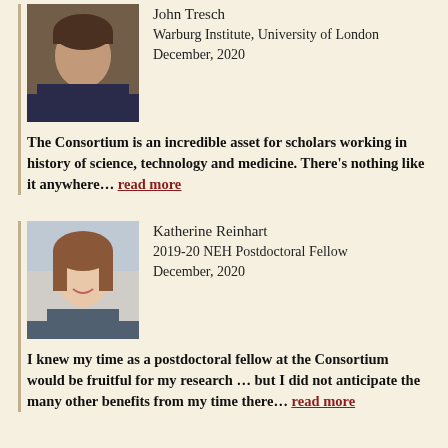John Tresch
Warburg Institute, University of London
December, 2020
The Consortium is an incredible asset for scholars working in history of science, technology and medicine. There's nothing like it anywhere... read more
[Figure (photo): Headshot of John Tresch, a middle-aged man in a dark shirt]
Katherine Reinhart
2019-20 NEH Postdoctoral Fellow
December, 2020
I knew my time as a postdoctoral fellow at the Consortium would be fruitful for my research ... but I did not anticipate the many other benefits from my time there... read more
[Figure (photo): Headshot of Katherine Reinhart, a young woman with brown hair, smiling]